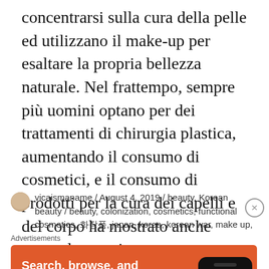concentrarsi sulla cura della pelle ed utilizzano il make-up per esaltare la propria bellezza naturale. Nel frattempo, sempre più uomini optano per dei trattamenti di chirurgia plastica, aumentando il consumo di cosmetici, e il consumo di prodotti per la cura dei capelli e del corpo ha mostrato anche notevole crescita.
vicaismaname / August 4, 2019 / beauty, Korean beauty / beauty, colonization, cosmetics, functional cosmetics, 화장품, japan, korea, korean war, make up,
[Figure (infographic): DuckDuckGo advertisement banner with text 'Search, browse, and email with more privacy.' and 'All in One Free App' button, showing a smartphone with DuckDuckGo logo]